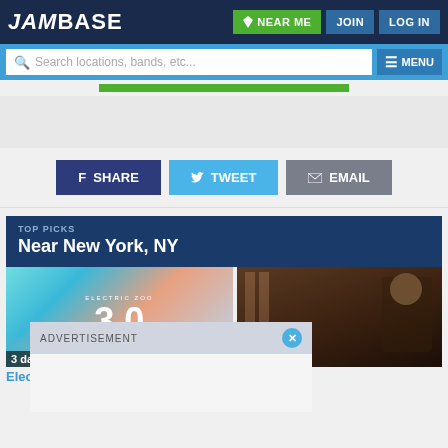JamBase — NEAR ME  JOIN  LOG IN
Search locations, bands, etc...  MENU
[Figure (screenshot): Green advertisement banner strip]
[Figure (infographic): Social sharing buttons: SHARE, TWEET, EMAIL]
TOP PICKS
Near New York, NY
[Figure (photo): Electric Zoo 3.0 festival promotional image with teal and pink sky background]
[Figure (photo): Portrait photo of a man (Osborn) with dark background]
3 day
Osborn
Elec
[Figure (screenshot): ADVERTISEMENT overlay banner with close button (X) and empty white content area]